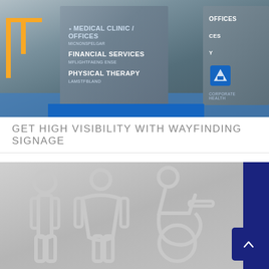[Figure (photo): Photo of wayfinding signage kiosk showing directional signs for Medical Clinic/Offices, Financial Services, and Physical Therapy, with blue floor and yellow railing visible]
GET HIGH VISIBILITY WITH WAYFINDING SIGNAGE
[Figure (photo): Close-up photo of embossed aluminum restroom signage showing male, female, and wheelchair accessibility icons in silver/grey relief, with dark blue panel on the right edge and a scroll-to-top button]